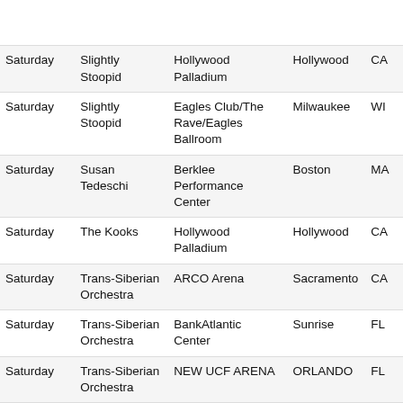| Day | Artist | Venue | City | State |
| --- | --- | --- | --- | --- |
| Saturday | Sarah Brightman | The Theatre at Honda Center | Anaheim | CA |
| Saturday | Slightly Stoopid | Hollywood Palladium | Hollywood | CA |
| Saturday | Slightly Stoopid | Eagles Club/The Rave/Eagles Ballroom | Milwaukee | WI |
| Saturday | Susan Tedeschi | Berklee Performance Center | Boston | MA |
| Saturday | The Kooks | Hollywood Palladium | Hollywood | CA |
| Saturday | Trans-Siberian Orchestra | ARCO Arena | Sacramento | CA |
| Saturday | Trans-Siberian Orchestra | BankAtlantic Center | Sunrise | FL |
| Saturday | Trans-Siberian Orchestra | NEW UCF ARENA | ORLANDO | FL |
| Saturday | Trans-Siberian Orchestra | St Pete Times Forum | Tampa | FL |
| Saturday | Trans-Siberian Orchestra | Tallahassee Leon County Civic | Tallahassee | FL |